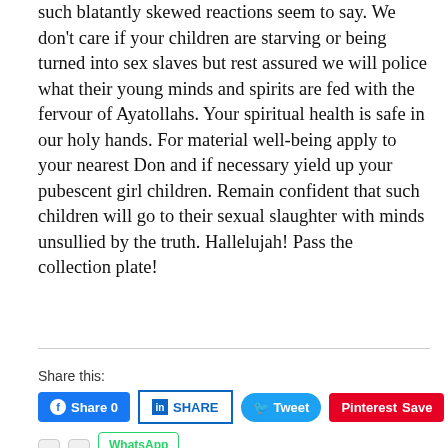such blatantly skewed reactions seem to say. We don't care if your children are starving or being turned into sex slaves but rest assured we will police what their young minds and spirits are fed with the fervour of Ayatollahs. Your spiritual health is safe in our holy hands. For material well-being apply to your nearest Don and if necessary yield up your pubescent girl children. Remain confident that such children will go to their sexual slaughter with minds unsullied by the truth. Hallelujah! Pass the collection plate!
Share this: